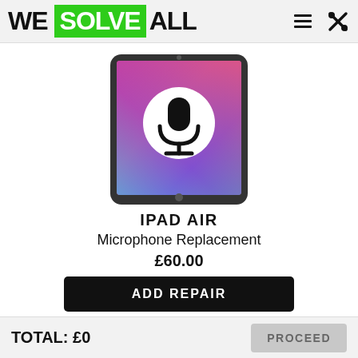WE SOLVE ALL
[Figure (photo): iPad Air with a microphone icon overlay on its screen, showing a colorful wallpaper.]
IPAD AIR
Microphone Replacement
£60.00
ADD REPAIR
TOTAL: £0   PROCEED